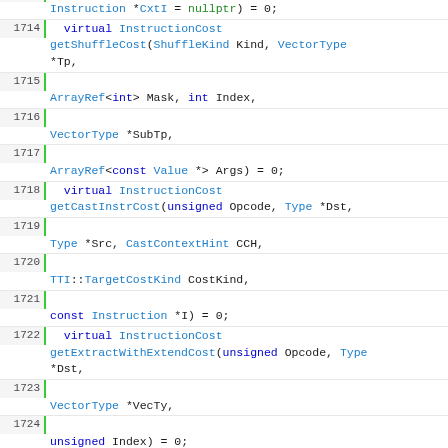[Figure (screenshot): Source code viewer showing C++ code lines 1714-1729 with line numbers, green vertical bar separators, and syntax highlighting. Blue keywords for types and function names, black for identifiers, green for nullptr values.]